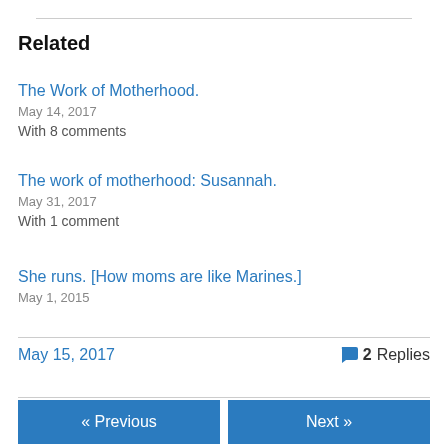Related
The Work of Motherhood.
May 14, 2017
With 8 comments
The work of motherhood: Susannah.
May 31, 2017
With 1 comment
She runs. [How moms are like Marines.]
May 1, 2015
May 15, 2017   💬 2 Replies
« Previous   Next »